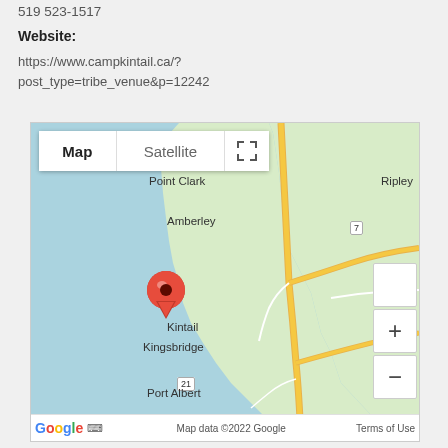519 523-1517
Website:
https://www.campkintail.ca/?post_type=tribe_venue&p=12242
[Figure (map): Google Map showing the area around Kintail, Ontario, Canada. Map/Satellite toggle at top. Red location pin dropped at Kintail. Visible place names: Point Clark, Ripley, Amberley, Kintail, Kingsbridge, Port Albert, Duncanville. Road numbers: 7, 86, 1, 21. Zoom controls on right. Google logo and Map data ©2022 Google footer.]